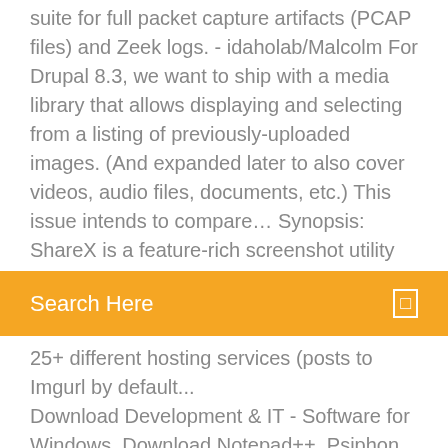suite for full packet capture artifacts (PCAP files) and Zeek logs. - idaholab/Malcolm For Drupal 8.3, we want to ship with a media library that allows displaying and selecting from a listing of previously-uploaded images. (And expanded later to also cover videos, audio files, documents, etc.) This issue intends to compare… Synopsis: ShareX is a feature-rich screenshot utility
Search Here
25+ different hosting services (posts to Imgurl by default... Download Development & IT - Software for Windows. Download Notepad++, Psiphon, Dev-C++ and more
Freenet REference Daemon. Contribute to freenet/fred development by creating an account on GitHub. WinZip is a trialware file archiver and compressor for Windows, macOS, iOS and Android developed by WinZip Computing (formerly Nico Mak Computing). How to accept DCC transfers. • 0=Ask for confirmation • 1=Ask for download folder • 2=Save without